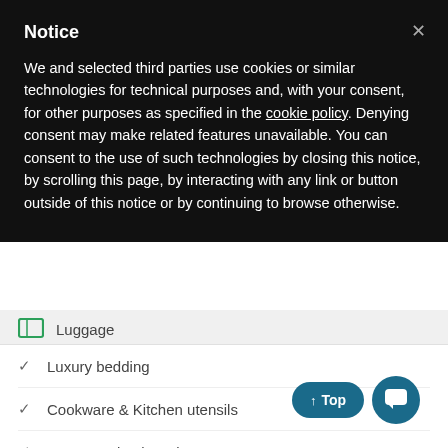Notice
We and selected third parties use cookies or similar technologies for technical purposes and, with your consent, for other purposes as specified in the cookie policy. Denying consent may make related features unavailable. You can consent to the use of such technologies by closing this notice, by scrolling this page, by interacting with any link or button outside of this notice or by continuing to browse otherwise.
Luggage
Luxury bedding
Cookware & Kitchen utensils
Iron & Ironing board
SELECT YOUR DATES TO VIEW RATES